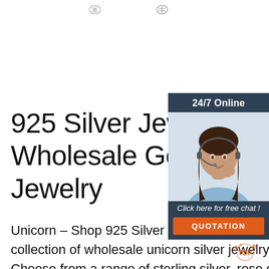[Figure (illustration): Two small decorative icons/logos at the top of the page]
[Figure (photo): Chat widget showing a woman with a headset, dark blue background, '24/7 Online' header, 'Click here for free chat!' text, and an orange 'QUOTATION' button]
925 Silver Jewelry - Shop Wholesale Gold-Plated Jewelry
Unicorn – Shop 925 Silver Jewelry's beautiful collection of wholesale unicorn silver jewelry. Choose from a range of sterling silver, rose gold, 14k gold unicorn inspired kids silver jewelry. These lovely unicorn earrings, pendants, and charms are full of amazing colors and gorgeous sparkles!
[Figure (illustration): Small 'back to top' icon at the bottom right]